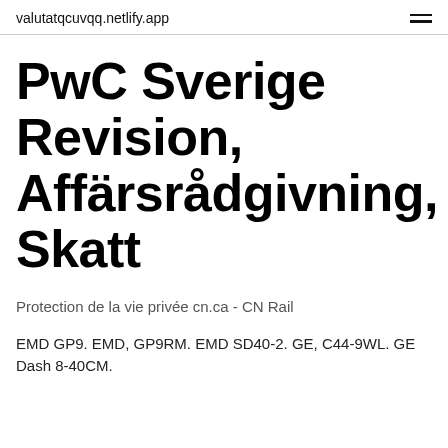valutatqcuvqq.netlify.app
PwC Sverige Revision, Affärsrådgivning, Skatt
Protection de la vie privée cn.ca - CN Rail
EMD GP9. EMD, GP9RM. EMD SD40-2. GE, C44-9WL. GE Dash 8-40CM.